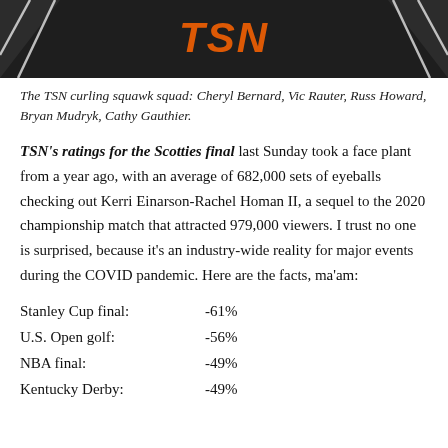[Figure (photo): TSN logo on dark background banner, partial image of TSN curling broadcast set]
The TSN curling squawk squad: Cheryl Bernard, Vic Rauter, Russ Howard, Bryan Mudryk, Cathy Gauthier.
TSN's ratings for the Scotties final last Sunday took a face plant from a year ago, with an average of 682,000 sets of eyeballs checking out Kerri Einarson-Rachel Homan II, a sequel to the 2020 championship match that attracted 979,000 viewers. I trust no one is surprised, because it's an industry-wide reality for major events during the COVID pandemic. Here are the facts, ma'am:
Stanley Cup final:    -61%
U.S. Open golf:       -56%
NBA final:            -49%
Kentucky Derby:       -49%